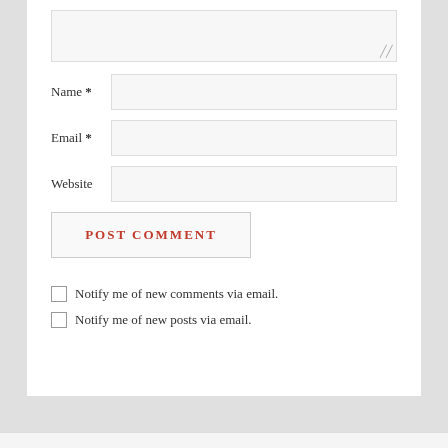[Figure (screenshot): Comment form with textarea, Name field, Email field, Website field, POST COMMENT button, and two checkbox options for email notifications.]
Name *
Email *
Website
POST COMMENT
Notify me of new comments via email.
Notify me of new posts via email.